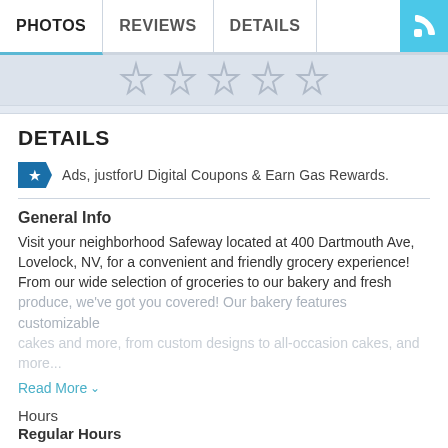PHOTOS  REVIEWS  DETAILS
[Figure (illustration): Five grey ribbon/bookmark star icons on a light blue-grey background]
DETAILS
Ads, justforU Digital Coupons & Earn Gas Rewards.
General Info
Visit your neighborhood Safeway located at 400 Dartmouth Ave, Lovelock, NV, for a convenient and friendly grocery experience! From our wide selection of groceries to our bakery and fresh produce, we've got you covered! Our bakery features customizable cakes and more...
Read More
Hours
Regular Hours
Mon - Sun:   7:00 am - 10:00 pm